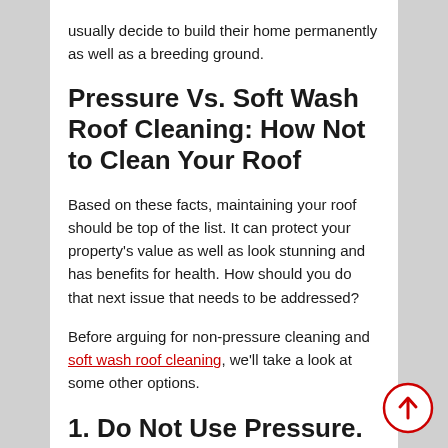usually decide to build their home permanently as well as a breeding ground.
Pressure Vs. Soft Wash Roof Cleaning: How Not to Clean Your Roof
Based on these facts, maintaining your roof should be top of the list. It can protect your property's value as well as look stunning and has benefits for health. How should you do that next issue that needs to be addressed?
Before arguing for non-pressure cleaning and soft wash roof cleaning, we'll take a look at some other options.
1. Do Not Use Pressure.